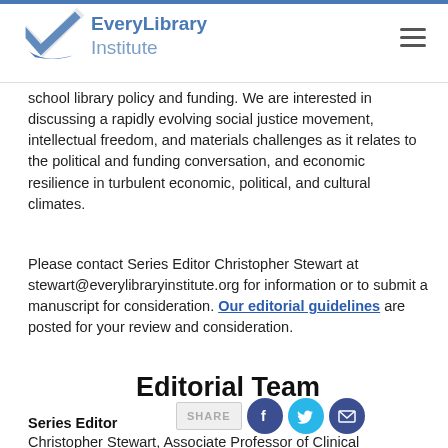EveryLibrary Institute
school library policy and funding. We are interested in discussing a rapidly evolving social justice movement, intellectual freedom, and materials challenges as it relates to the political and funding conversation, and economic resilience in turbulent economic, political, and cultural climates.
Please contact Series Editor Christopher Stewart at stewart@everylibraryinstitute.org for information or to submit a manuscript for consideration. Our editorial guidelines are posted for your review and consideration.
Editorial Team
Series Editor
Christopher Stewart, Associate Professor of Clinical